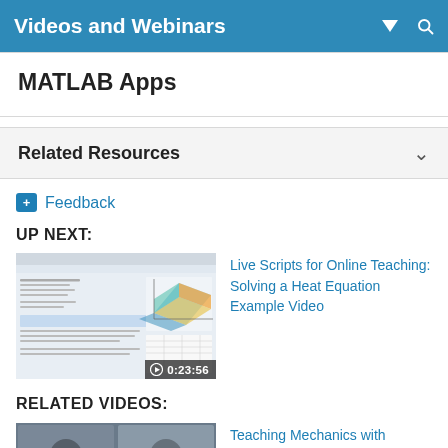Videos and Webinars
MATLAB Apps
Related Resources
Feedback
UP NEXT:
[Figure (screenshot): Thumbnail of a MATLAB Live Script video showing a heat equation example with a 3D surface plot, duration 0:23:56]
Live Scripts for Online Teaching: Solving a Heat Equation Example Video
RELATED VIDEOS:
[Figure (screenshot): Thumbnail of a video about Teaching Mechanics]
Teaching Mechanics with